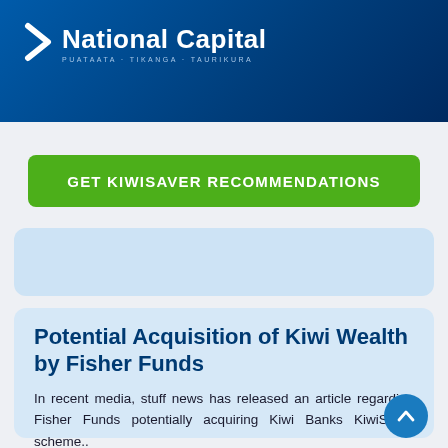National Capital — PUATAATA · TIKANGA · TAURIKURA
GET KIWISAVER RECOMMENDATIONS
Potential Acquisition of Kiwi Wealth by Fisher Funds
In recent media, stuff news has released an article regarding Fisher Funds potentially acquiring Kiwi Banks KiwiSaver scheme..